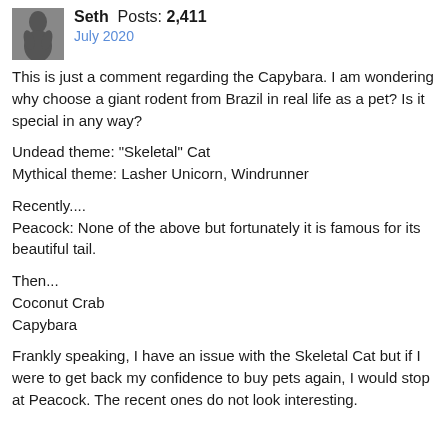Seth  Posts: 2,411
July 2020
This is just a comment regarding the Capybara. I am wondering why choose a giant rodent from Brazil in real life as a pet? Is it special in any way?
Undead theme: "Skeletal" Cat
Mythical theme: Lasher Unicorn, Windrunner
Recently....
Peacock: None of the above but fortunately it is famous for its beautiful tail.
Then...
Coconut Crab
Capybara
Frankly speaking, I have an issue with the Skeletal Cat but if I were to get back my confidence to buy pets again, I would stop at Peacock. The recent ones do not look interesting.